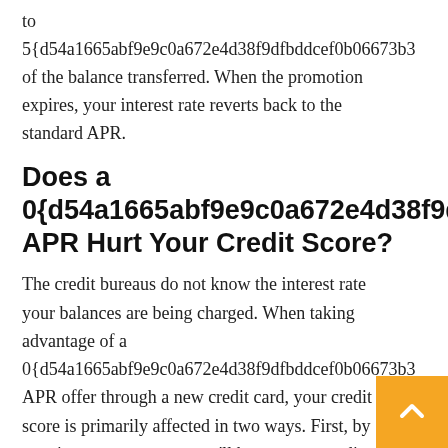to 5{d54a1665abf9e9c0a672e4d38f9dfbddcef0b06673b3 of the balance transferred. When the promotion expires, your interest rate reverts back to the standard APR.
Does a 0{d54a1665abf9e9c0a672e4d38f9dfbddce APR Hurt Your Credit Score?
The credit bureaus do not know the interest rate your balances are being charged. When taking advantage of a 0{d54a1665abf9e9c0a672e4d38f9dfbddcef0b06673b3 APR offer through a new credit card, your credit score is primarily affected in two ways. First, by opening a new account you'll have a new credi inquiry and the average age of your accounts may